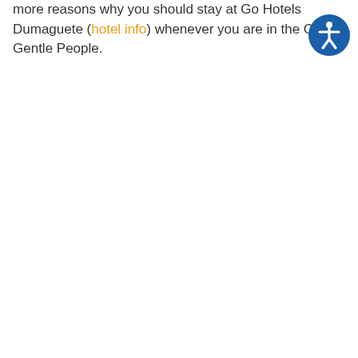more reasons why you should stay at Go Hotels Dumaguete (hotel info) whenever you are in the City of Gentle People.
[Figure (illustration): Accessibility icon: circular blue badge with white human figure in universal accessibility pose (arms and legs spread)]